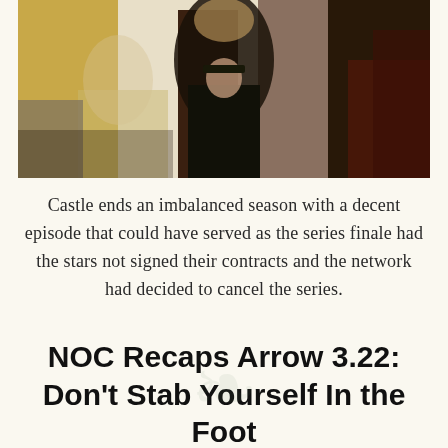[Figure (photo): A photograph showing people at a formal dinner event, with a woman in a black backless dress visible seated at a table with white tablecloth and dark wooden chairs.]
Castle ends an imbalanced season with a decent episode that could have served as the series finale had the stars not signed their contracts and the network had decided to cancel the series.
NOC Recaps Arrow 3.22: Don't Stab Yourself In the Foot